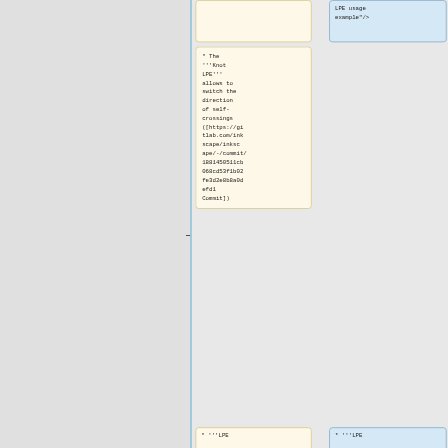LPE usage example"/>
* The '''Knot LPE''' allows to switch the direction of self-crossings ([https://gitlab.com/inkscape/inkscape/-/commit/1881450511cb068cd53f1b02fe3d2e8b8a0defd1 Commit])
* '''LPE selection
* '''LPE selection